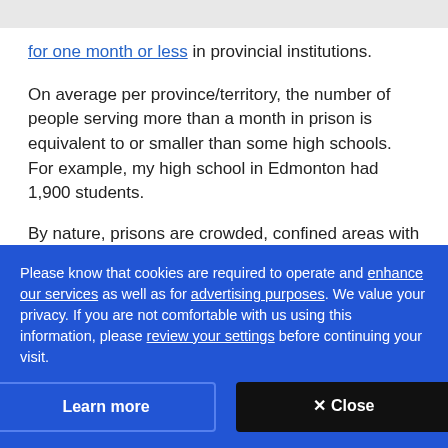for one month or less in provincial institutions.
On average per province/territory, the number of people serving more than a month in prison is equivalent to or smaller than some high schools. For example, my high school in Edmonton had 1,900 students.
By nature, prisons are crowded, confined areas with
Please know that cookies are required to operate and enhance our services as well as for advertising purposes. We value your privacy. If you are not comfortable with us using this information, please review your settings before continuing your visit.